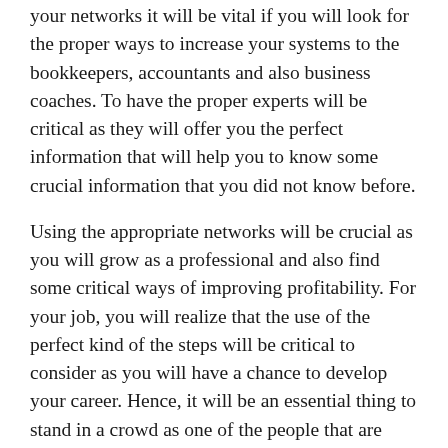your networks it will be vital if you will look for the proper ways to increase your systems to the bookkeepers, accountants and also business coaches. To have the proper experts will be critical as they will offer you the perfect information that will help you to know some crucial information that you did not know before.
Using the appropriate networks will be crucial as you will grow as a professional and also find some critical ways of improving profitability. For your job, you will realize that the use of the perfect kind of the steps will be critical to consider as you will have a chance to develop your career. Hence, it will be an essential thing to stand in a crowd as one of the people that are serious about their jobs. For a person that is looking to get the best when it comes to advisory and also the profitability knowledge, the profit first professional will be a basic course to have.
For your learning process needs, it will be a crucial thing if you will find the proper kind of the experts that will be able to